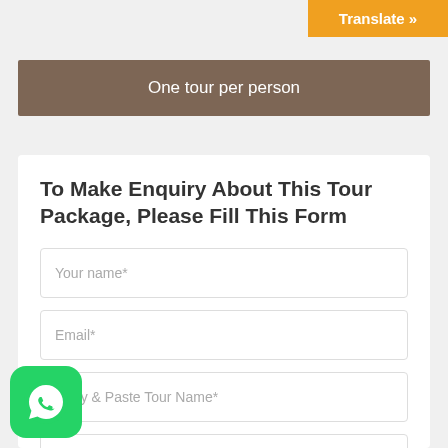Translate »
One tour per person
To Make Enquiry About This Tour Package, Please Fill This Form
Your name*
Email*
Copy & Paste Tour Name*
Number of People*